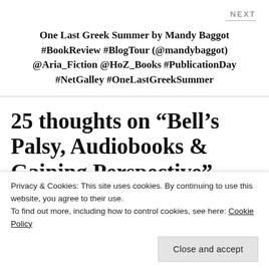NEXT
One Last Greek Summer by Mandy Baggot #BookReview #BlogTour (@mandybaggot) @Aria_Fiction @HoZ_Books #PublicationDay #NetGalley #OneLastGreekSummer
25 thoughts on “Bell’s Palsy, Audiobooks & Gaining Perspective”
Privacy & Cookies: This site uses cookies. By continuing to use this website, you agree to their use.
To find out more, including how to control cookies, see here: Cookie Policy
Close and accept